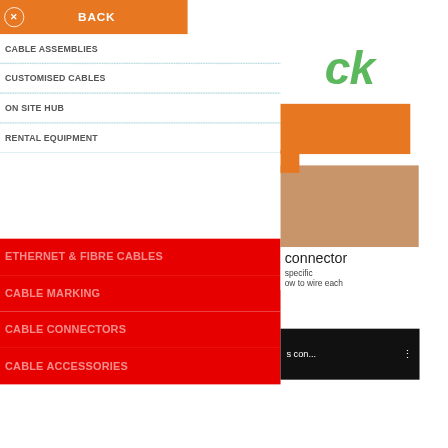BACK
CABLE ASSEMBLIES
CUSTOMISED CABLES
ON SITE HUB
RENTAL EQUIPMENT
ETHERNET & FIBRE CABLES
CABLE MARKING
CABLE CONNECTORS
CABLE ACCESSORIES
[Figure (screenshot): App navigation menu with orange header bar showing BACK and close button, white menu items list, red section below, and right panel with logo, orange rectangle, and photo overlay with text 'connector', 'specific', 'ow to wire each' and video thumbnail showing 's con...']